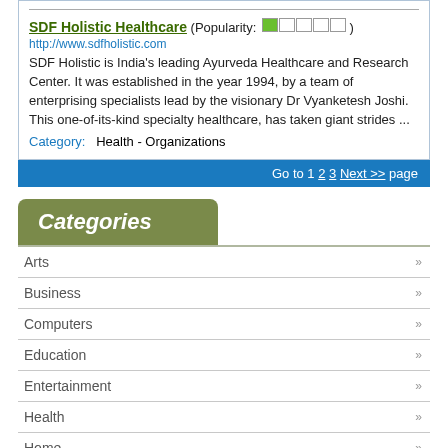SDF Holistic Healthcare (Popularity: [1 filled, 4 empty]) http://www.sdfholistic.com SDF Holistic is India's leading Ayurveda Healthcare and Research Center. It was established in the year 1994, by a team of enterprising specialists lead by the visionary Dr Vyanketesh Joshi. This one-of-its-kind specialty healthcare, has taken giant strides ... Category: Health - Organizations
Go to 1 2 3 Next >> page
Categories
Arts
Business
Computers
Education
Entertainment
Health
Home
Kids and Teens
News
Recreation